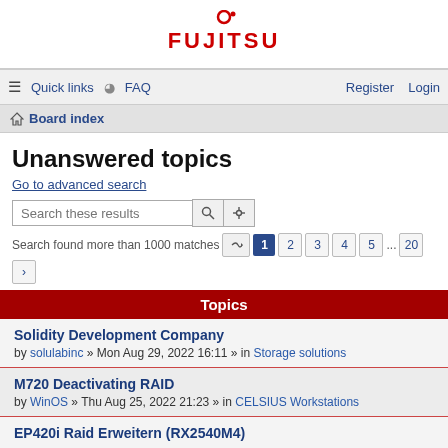[Figure (logo): Fujitsu logo in red with circular icon above text]
≡ Quick links  ⊙ FAQ    Register   Login
🏠 Board index
Unanswered topics
Go to advanced search
Search these results
Search found more than 1000 matches  1 2 3 4 5 ... 20 >
Topics
Solidity Development Company
by solulabinc » Mon Aug 29, 2022 16:11 » in Storage solutions
M720 Deactivating RAID
by WinOS » Thu Aug 25, 2022 21:23 » in CELSIUS Workstations
EP420i Raid Erweitern (RX2540M4)